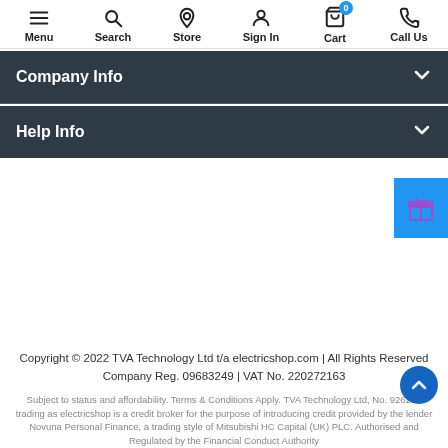[Figure (screenshot): Top navigation bar with icons: Menu (hamburger), Search (magnifier), Store (pin), Sign In (person), Cart (basket with badge 0), Call Us (phone)]
Company Info
Help Info
[Figure (illustration): Blue gift/rewards button on the right side]
Copyright © 2022 TVA Technology Ltd t/a electricshop.com | All Rights Reserved
Company Reg. 09683249 | VAT No. 220272163
Subject to status and affordability. Terms & Conditions Apply. TVA Technology Ltd, No. 926214 trading as electricshop is a credit broker for the purpose of introducing credit provided by the lender Novuna Personal Finance, a trading style of Mitsubishi HC Capital (UK) PLC. Authorised and Regulated by the Financial Conduct Authority